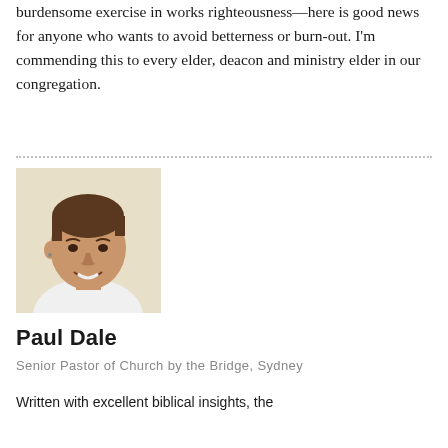burdensome exercise in works righteousness—here is good news for anyone who wants to avoid betterness or burn-out. I'm commending this to every elder, deacon and ministry elder in our congregation.
[Figure (photo): Portrait photo of Paul Dale, a man smiling, wearing a white shirt, against a light background.]
Paul Dale
Senior Pastor of Church by the Bridge, Sydney
Written with excellent biblical insights, the